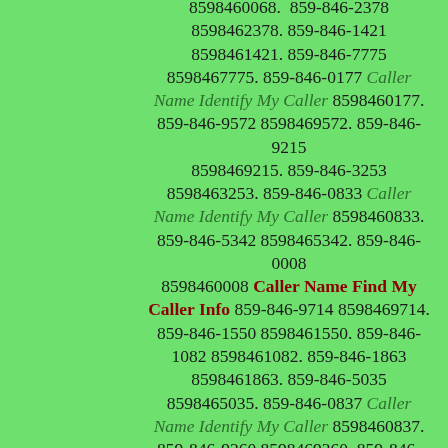8598460068. 859-846-2378 8598462378. 859-846-1421 8598461421. 859-846-7775 8598467775. 859-846-0177 Caller Name Identify My Caller 8598460177. 859-846-9572 8598469572. 859-846-9215 8598469215. 859-846-3253 8598463253. 859-846-0833 Caller Name Identify My Caller 8598460833. 859-846-5342 8598465342. 859-846-0008 8598460008 Caller Name Find My Caller Info 859-846-9714 8598469714. 859-846-1550 8598461550. 859-846-1082 8598461082. 859-846-1863 8598461863. 859-846-5035 8598465035. 859-846-0837 Caller Name Identify My Caller 8598460837. 859-846-9360 8598469360. 859-846-3872 8598463872. 859-846-2763 8598462763. 859-846-0118 Caller Name Identify My Caller 8598460118. 859-846-1903 8598461903. 859-846-9984 8598469984. 859-846-2848 8598462848. 859-846-2484 8598462484. 859-846-9016